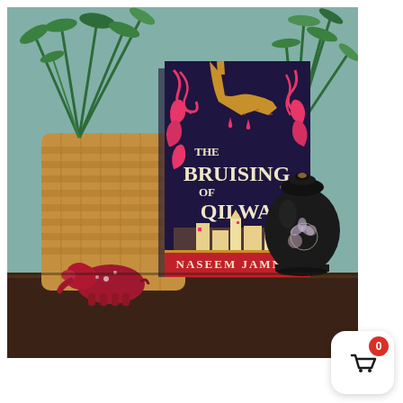[Figure (photo): A photograph of the book 'The Bruising of Qilwa' by Naseem Jamnia, standing upright on a dark wooden surface. The book cover features a dark navy/purple background with ornate red-pink floral and flame swirl designs, a golden hand reaching down from the top, and an illustrated fantasy cityscape at the bottom. The title 'THE BRUISING OF QILWA' is displayed in large cream/gold lettering, and the author name 'NASEEM JAMNIA' appears in cream text on a red banner at the bottom. The book is surrounded by a woven basket planter with green fern plants, a red decorative elephant figurine, and a black Japanese-style floral ginger jar. Background wall is teal/sage green.]